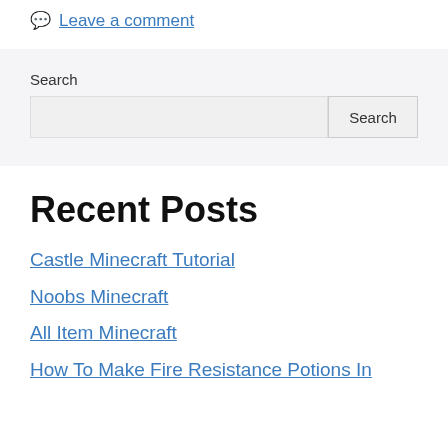💬 Leave a comment
Search
Recent Posts
Castle Minecraft Tutorial
Noobs Minecraft
All Item Minecraft
How To Make Fire Resistance Potions In